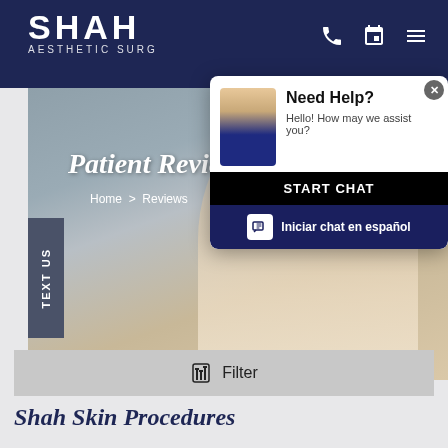[Figure (screenshot): Shah Aesthetic Surgery website screenshot showing Patient Reviews hero section with a woman's profile photo, navigation header, chat popup overlay, and filter bar. The page includes 'Patient Reviews' hero text, 'Home > Reviews' breadcrumb, a 'Need Help?' chat widget with 'START CHAT' and 'Iniciar chat en español' buttons, a filter bar, and 'Shah Skin Procedures' heading at the bottom.]